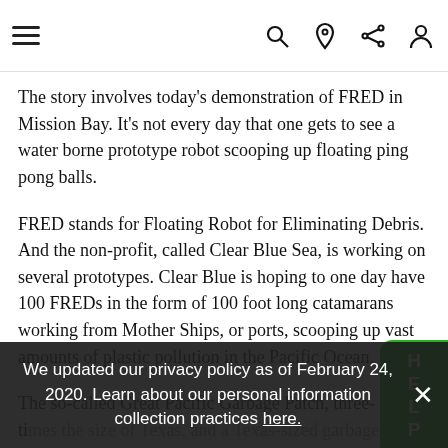Navigation bar with hamburger menu and icons: search, location, share, profile
The story involves today’s demonstration of FRED in Mission Bay. It’s not every day that one gets to see a water borne prototype robot scooping up floating ping pong balls.
FRED stands for Floating Robot for Eliminating Debris. And the non-profit, called Clear Blue Sea, is working on several prototypes. Clear Blue is hoping to one day have 100 FREDs in the form of 100 foot long catamarans working from Mother Ships, or ports, scooping up vast amounts of plastic pollution in the Pacific Ocean.
The so-called Great Pacific Garbage Patch, three- ti... patc...
[Figure (other): Green HELP button widget on right side of page with helmet icon]
We updated our privacy policy as of February 24, 2020. Learn about our personal information collection practices here.
Clear Blue’s chief engineer is Tim Perry. He told